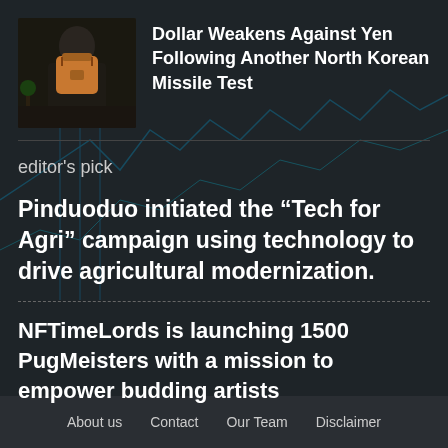[Figure (photo): Person holding an orange/tan leather bag, dark background]
Dollar Weakens Against Yen Following Another North Korean Missile Test
editor's pick
Pinduoduo initiated the “Tech for Agri” campaign using technology to drive agricultural modernization.
NFTimeLords is launching 1500 PugMeisters with a mission to empower budding artists
About us   Contact   Our Team   Disclaimer